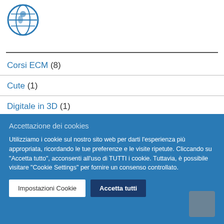[Figure (logo): Circular logo with globe and figure silhouette, dark blue outline]
Corsi ECM (8)
Cute (1)
Digitale in 3D (1)
Documenti per soci (4)
Accettazione dei cookies
Utilizziamo i cookie sul nostro sito web per darti l'esperienza più appropriata, ricordando le tue preferenze e le visite ripetute. Cliccando su "Accetta tutto", acconsenti all'uso di TUTTI i cookie. Tuttavia, è possibile visitare "Cookie Settings" per fornire un consenso controllato.
Impostazioni Cookie   Accetta tutti